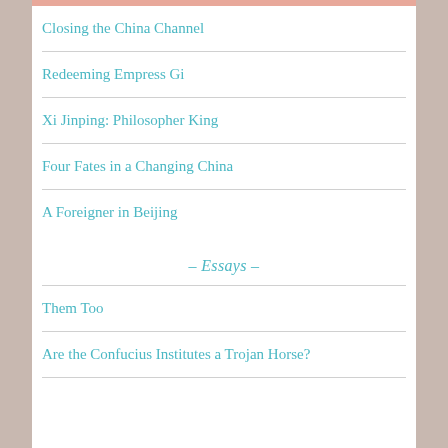Closing the China Channel
Redeeming Empress Gi
Xi Jinping: Philosopher King
Four Fates in a Changing China
A Foreigner in Beijing
– Essays –
Them Too
Are the Confucius Institutes a Trojan Horse?